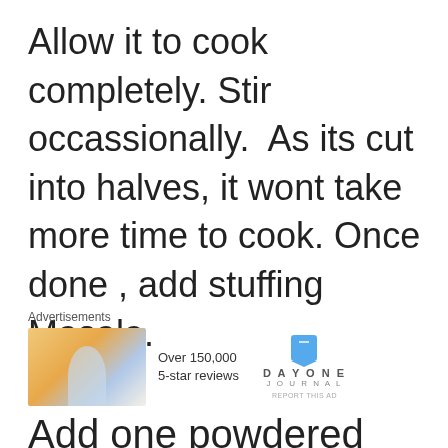Allow it to cook completely. Stir occassionally.  As its cut into halves, it wont take more time to cook. Once done , add stuffing Masala.
[Figure (other): Advertisement section with a photo of a person on a hilltop at sunset, text 'Over 150,000 5-star reviews', and Day One Journal logo with bookmark icon]
Add one powdered rusk. If you